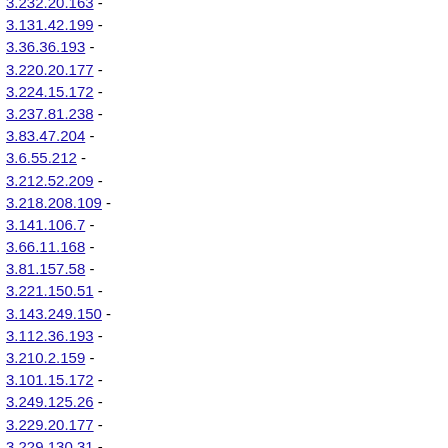3.232.20.163 -
3.131.42.199 -
3.36.36.193 -
3.220.20.177 -
3.224.15.172 -
3.237.81.238 -
3.83.47.204 -
3.6.55.212 -
3.212.52.209 -
3.218.208.109 -
3.141.106.7 -
3.66.11.168 -
3.81.157.58 -
3.221.150.51 -
3.143.249.150 -
3.112.36.193 -
3.210.2.159 -
3.101.15.172 -
3.249.125.26 -
3.229.20.177 -
3.229.130.31 -
3.7.119.20 -
3.23.199.100 -
3.225.58.215 -
3.67.92.249 -
3.219.18.175 -
3.225.70.227 -
3.96.22.179 -
3.97.144.45 -
3.140.141.42 -
3.93.199.199 -